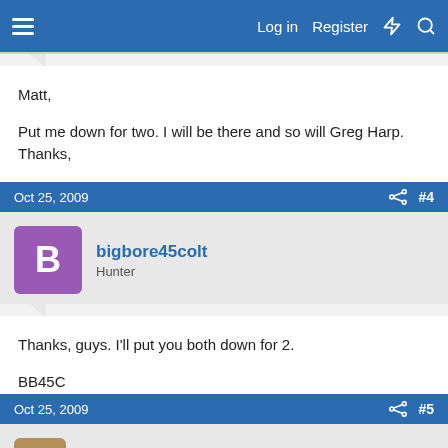Log in  Register
Matt,

Put me down for two. I will be there and so will Greg Harp. Thanks,
Oct 25, 2009  #4
bigbore45colt
Hunter
Thanks, guys. I'll put you both down for 2.

BB45C
Oct 25, 2009  #5
mike722